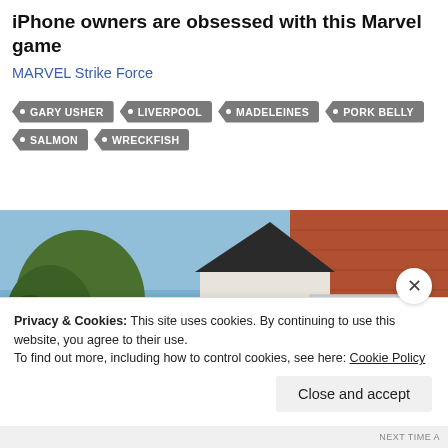iPhone owners are obsessed with this Marvel game
MARVEL Strike Force
GARY USHER
LIVERPOOL
MADELEINES
PORK BELLY
SALMON
WRECKFISH
[Figure (photo): Exterior of a building with white rendered gable end, dark roof, red brick wall on the right with white-framed windows, and trees visible on the left against a blue sky.]
Privacy & Cookies: This site uses cookies. By continuing to use this website, you agree to their use.
To find out more, including how to control cookies, see here: Cookie Policy
Close and accept